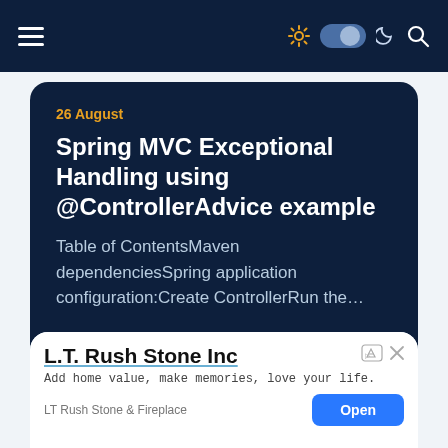Navigation bar with hamburger menu and icons
26 August
Spring MVC Exceptional Handling using @ControllerAdvice example
Table of ContentsMaven dependenciesSpring application configuration:Create ControllerRun the…
Read More
[Figure (screenshot): Advertisement for L.T. Rush Stone Inc with title, tagline 'Add home value, make memories, love your life.', brand name 'LT Rush Stone & Fireplace', and an Open button]